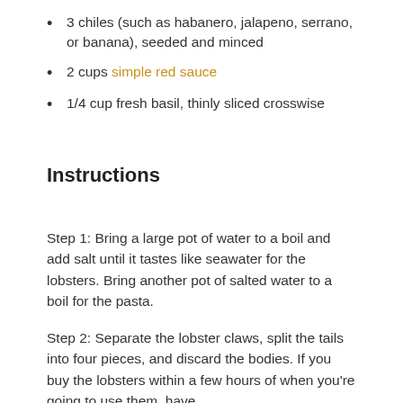3 chiles (such as habanero, jalapeno, serrano, or banana), seeded and minced
2 cups simple red sauce
1/4 cup fresh basil, thinly sliced crosswise
Instructions
Step 1: Bring a large pot of water to a boil and add salt until it tastes like seawater for the lobsters. Bring another pot of salted water to a boil for the pasta.
Step 2: Separate the lobster claws, split the tails into four pieces, and discard the bodies. If you buy the lobsters within a few hours of when you're going to use them, have